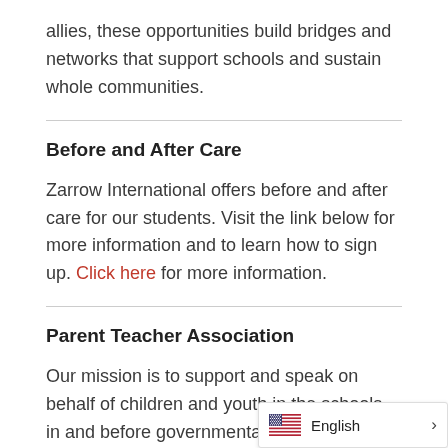allies, these opportunities build bridges and networks that support schools and sustain whole communities.
Before and After Care
Zarrow International offers before and after care for our students. Visit the link below for more information and to learn how to sign up. Click here for more information.
Parent Teacher Association
Our mission is to support and speak on behalf of children and youth in the schools, in and before governmental bodies ar